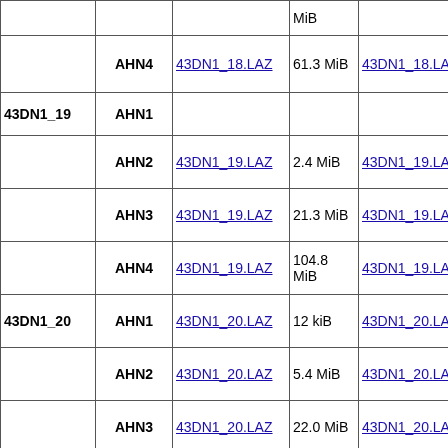| ID | Version | LAZ file | LAZ size | LAX file | LAX size |  |
| --- | --- | --- | --- | --- | --- | --- |
|  |  | MiB |  |  | kiB |  |
|  | AHN4 | 43DN1_18.LAZ | 61.3 MiB | 43DN1_18.LAX | 41 kiB |  |
| 43DN1_19 | AHN1 |  |  |  |  |  |
|  | AHN2 | 43DN1_19.LAZ | 2.4 MiB | 43DN1_19.LAX | 4 kiB |  |
|  | AHN3 | 43DN1_19.LAZ | 21.3 MiB | 43DN1_19.LAX | 18 kiB |  |
|  | AHN4 | 43DN1_19.LAZ | 104.8 MiB | 43DN1_19.LAX | 57 kiB |  |
| 43DN1_20 | AHN1 | 43DN1_20.LAZ | 12 kiB | 43DN1_20.LAX | 284 B |  |
|  | AHN2 | 43DN1_20.LAZ | 5.4 MiB | 43DN1_20.LAX | 7 kiB |  |
|  | AHN3 | 43DN1_20.LAZ | 22.0 MiB | 43DN1_20.LAX | 12 kiB |  |
|  | AHN4 | 43DN1_20.LAZ | 81.7 MiB | 43DN1_20.LAX | 52 kiB |  |
|  |  |  |  |  |  |  |